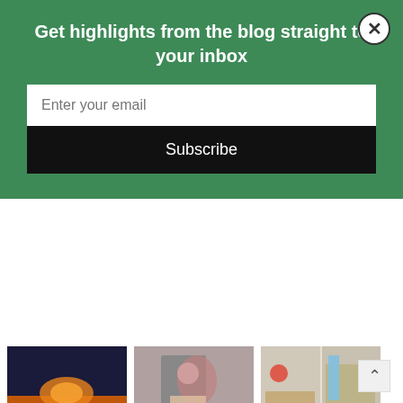Get highlights from the blog straight to your inbox
Enter your email
Subscribe
[Figure (photo): Sunset over a lake with silhouetted trees]
[Figure (photo): Child with bicycle]
[Figure (photo): Children doing crafts at a table]
2021 in Review – Part III
On Being British
Mothering A Child With A Disability: The Secret Thoughts (part two)
[Figure (photo): Split image: woman smiling and person lying in grass]
[Figure (photo): Small blank canvas on a wooden easel]
[Figure (photo): Young child with blue balloon animal holding a cardboard piece]